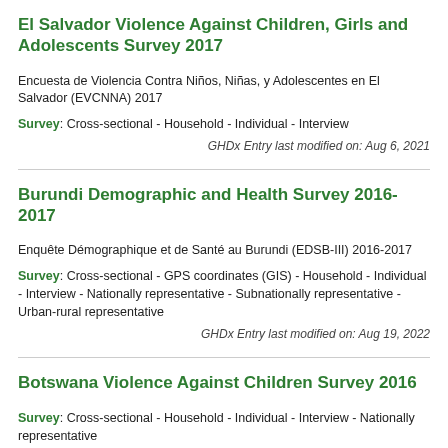El Salvador Violence Against Children, Girls and Adolescents Survey 2017
Encuesta de Violencia Contra Niños, Niñas, y Adolescentes en El Salvador (EVCNNA) 2017
Survey: Cross-sectional - Household - Individual - Interview
GHDx Entry last modified on: Aug 6, 2021
Burundi Demographic and Health Survey 2016-2017
Enquête Démographique et de Santé au Burundi (EDSB-III) 2016-2017
Survey: Cross-sectional - GPS coordinates (GIS) - Household - Individual - Interview - Nationally representative - Subnationally representative - Urban-rural representative
GHDx Entry last modified on: Aug 19, 2022
Botswana Violence Against Children Survey 2016
Survey: Cross-sectional - Household - Individual - Interview - Nationally representative